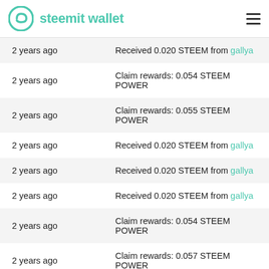steemit wallet
2 years ago | Received 0.020 STEEM from gallya
2 years ago | Claim rewards: 0.054 STEEM POWER
2 years ago | Claim rewards: 0.055 STEEM POWER
2 years ago | Received 0.020 STEEM from gallya
2 years ago | Received 0.020 STEEM from gallya
2 years ago | Received 0.020 STEEM from gallya
2 years ago | Claim rewards: 0.054 STEEM POWER
2 years ago | Claim rewards: 0.057 STEEM POWER
2 years ago | Received 0.020 STEEM from gallya